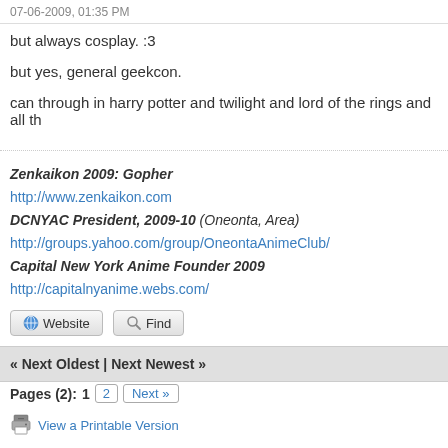07-06-2009, 01:35 PM
but always cosplay. :3
but yes, general geekcon.
can through in harry potter and twilight and lord of the rings and all th
Zenkaikon 2009: Gopher
http://www.zenkaikon.com
DCNYAC President, 2009-10 (Oneonta, Area)
http://groups.yahoo.com/group/OneontaAnimeClub/
Capital New York Anime Founder 2009
http://capitalnyanime.webs.com/
« Next Oldest | Next Newest »
Pages (2):  1  2  Next »
View a Printable Version